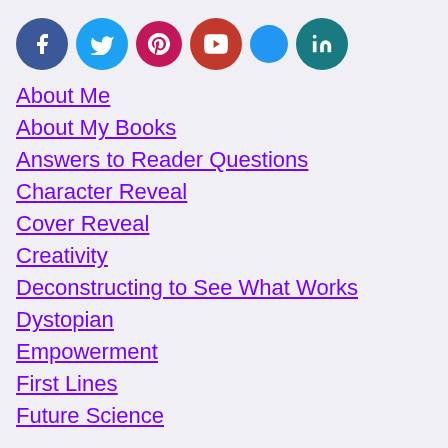[Figure (infographic): Row of social media icon circles: Facebook (dark blue), Twitter (light blue), Pinterest (pink/magenta), YouTube (red), unknown (blue), LinkedIn (teal)]
About Me
About My Books
Answers to Reader Questions
Character Reveal
Cover Reveal
Creativity
Deconstructing to See What Works
Dystopian
Empowerment
First Lines
Future Science